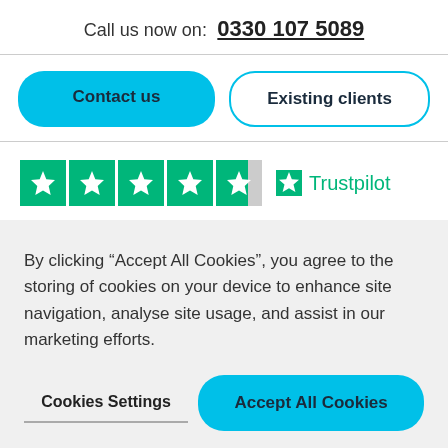Call us now on:  0330 107 5089
Contact us
Existing clients
[Figure (logo): Trustpilot rating showing 4.5 green stars and Trustpilot logo]
By clicking “Accept All Cookies”, you agree to the storing of cookies on your device to enhance site navigation, analyse site usage, and assist in our marketing efforts.
Cookies Settings
Accept All Cookies